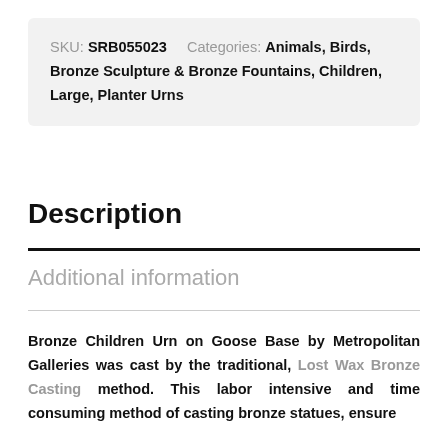SKU: SRB055023    Categories: Animals, Birds, Bronze Sculpture & Bronze Fountains, Children, Large, Planter Urns
Description
Additional information
Bronze Children Urn on Goose Base by Metropolitan Galleries was cast by the traditional, Lost Wax Bronze Casting method. This labor intensive and time consuming method of casting bronze statues, ensure